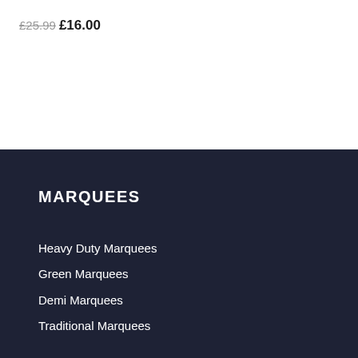£25.99 £16.00
MARQUEES
Heavy Duty Marquees
Green Marquees
Demi Marquees
Traditional Marquees